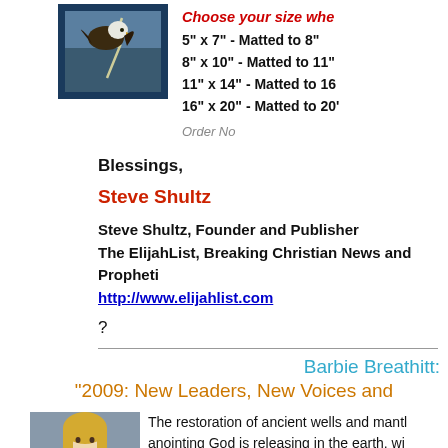[Figure (photo): Eagle photo with lightning background in dark blue frame]
Choose your size whe
5" x 7" - Matted to 8"
8" x 10" - Matted to 11"
11" x 14" - Matted to 16
16" x 20" - Matted to 20'
[Figure (other): Order Now button/link]
Blessings,
Steve Shultz
Steve Shultz, Founder and Publisher
The ElijahList, Breaking Christian News and Propheti
http://www.elijahlist.com
?
Barbie Breathitt:
"2009: New Leaders, New Voices and
[Figure (photo): Portrait photo of Barbie Breathitt, blonde woman]
The restoration of ancient wells and mantl anointing God is releasing in the earth, wi overflow its banks. The healing revival of